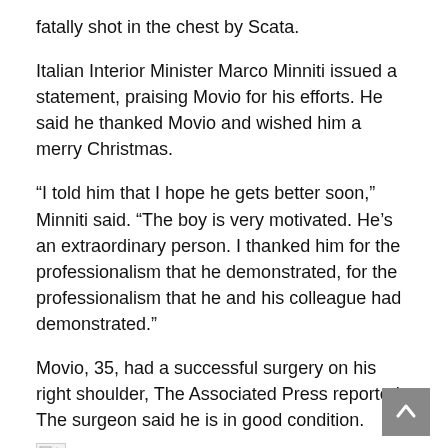fatally shot in the chest by Scata.
Italian Interior Minister Marco Minniti issued a statement, praising Movio for his efforts. He said he thanked Movio and wished him a merry Christmas.
“I told him that I hope he gets better soon,” Minniti said. “The boy is very motivated. He’s an extraordinary person. I thanked him for the professionalism that he demonstrated, for the professionalism that he and his colleague had demonstrated.”
Movio, 35, had a successful surgery on his right shoulder, The Associated Press reported. The surgeon said he is in good condition.
[Figure (other): Broken/missing image placeholder]
Germany Federal Prosecutor Peter Frank said they are now investigating as to whether Amri had any accomplices, and how he escaped from the city.
“We are in close contact with the Italian authorities,” Frank